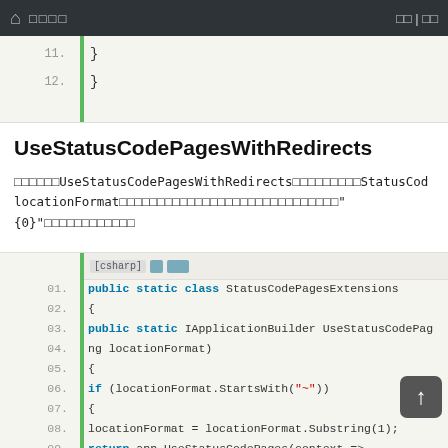🏠 □□□□   □□ | □□
[Figure (screenshot): Code block showing lines 11-12 with closing braces]
UseStatusCodePagesWithRedirects
□□□□□□UseStatusCodePagesWithRedirects□□□□□□□□□StatusCode locationFormat□□□□□□□□□□□□□□□□□□□□□□□□□□□□□"{0}"□□□□□□□□□□□
[Figure (screenshot): C# code block showing UseStatusCodePagesWithRedirects extension method implementation, lines 01-10]